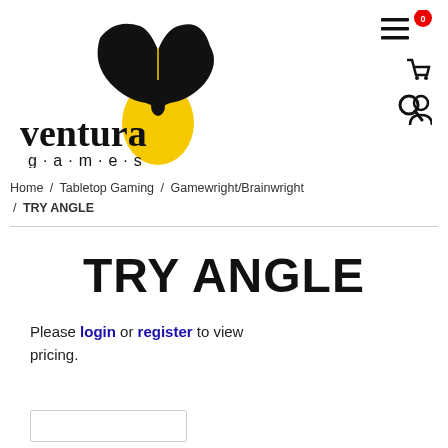[Figure (logo): Ventura Games logo: black hand holding a yellow board game pawn meeple, with 'ventura' in bold serif/display font and 'g·a·m·e·s' in spaced sans-serif below]
[Figure (infographic): Top-right navigation icons: hamburger menu icon, red circle badge with '0', shopping cart icon, magnifying glass/search icon, user/person icon]
Home / Tabletop Gaming / Gamewright/Brainwright / TRY ANGLE
TRY ANGLE
Please login or register to view pricing.